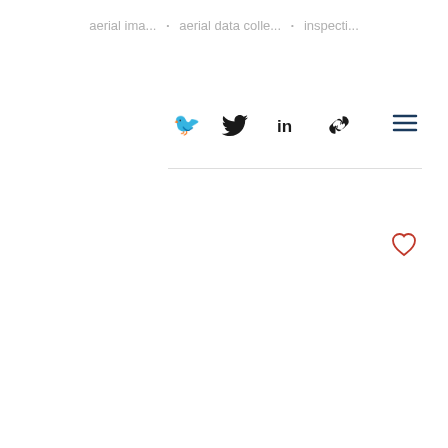aerial ima... • aerial data colle... • inspecti...
[Figure (screenshot): Social share icons: Twitter bird icon, LinkedIn 'in' icon, chain/link icon on the left. Hamburger menu (three horizontal lines) icon on the right.]
[Figure (screenshot): Red outlined heart/like icon button]
[Figure (screenshot): Three dots pagination indicator: light grey circle, medium grey circle, dark grey circle]